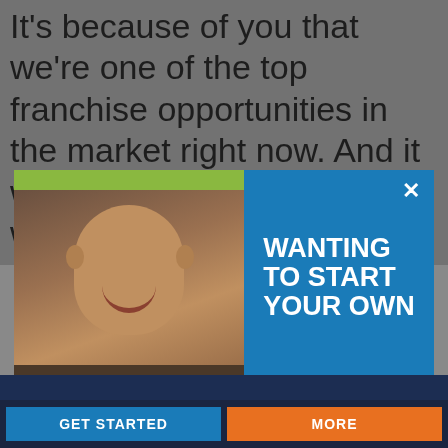It's because of you that we're one of the top franchise opportunities in the market right now. And it will be because of you that we'll continue
[Figure (screenshot): Advertisement banner with photo of a smiling person on left, and text 'WANTING TO START YOUR OWN' on blue background on right, with a close (X) button]
This website uses cookies to provide an exceptional user experience. Cookies enable you to enjoy certain features and allow us to understand how our site is being used. By continuing to use our site, you consent to our use of cookies.
Read more
Decline
Accept Cookies